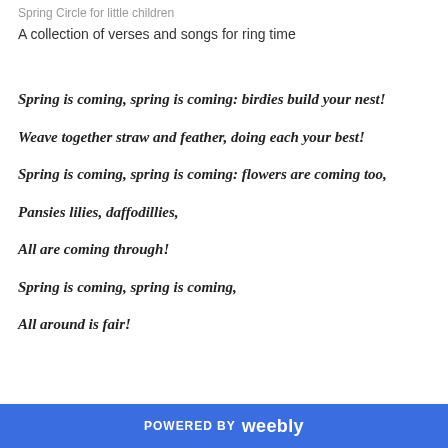Spring Circle for little children
A collection of verses and songs for ring time
Spring is coming, spring is coming: birdies build your nest!
Weave together straw and feather, doing each your best!
Spring is coming, spring is coming: flowers are coming too,
Pansies lilies, daffodillies,
All are coming through!
Spring is coming, spring is coming,
All around is fair!
POWERED BY weebly